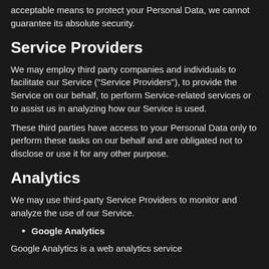acceptable means to protect your Personal Data, we cannot guarantee its absolute security.
Service Providers
We may employ third party companies and individuals to facilitate our Service ("Service Providers"), to provide the Service on our behalf, to perform Service-related services or to assist us in analyzing how our Service is used.
These third parties have access to your Personal Data only to perform these tasks on our behalf and are obligated not to disclose or use it for any other purpose.
Analytics
We may use third-party Service Providers to monitor and analyze the use of our Service.
Google Analytics
Google Analytics is a web analytics service